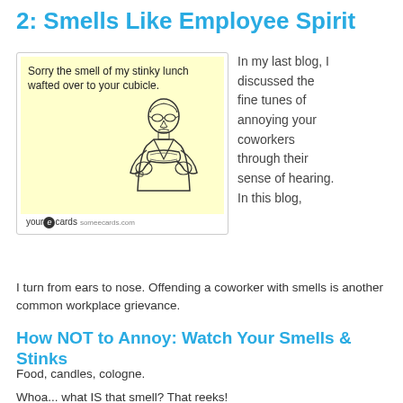2: Smells Like Employee Spirit
[Figure (illustration): A someecards.com ecard with yellow background showing a man eating a sandwich, with text: 'Sorry the smell of my stinky lunch wafted over to your cubicle.']
In my last blog, I discussed the fine tunes of annoying your coworkers through their sense of hearing. In this blog, I turn from ears to nose. Offending a coworker with smells is another common workplace grievance.
How NOT to Annoy: Watch Your Smells & Stinks
Food, candles, cologne.
Whoa... what IS that smell? That reeks!